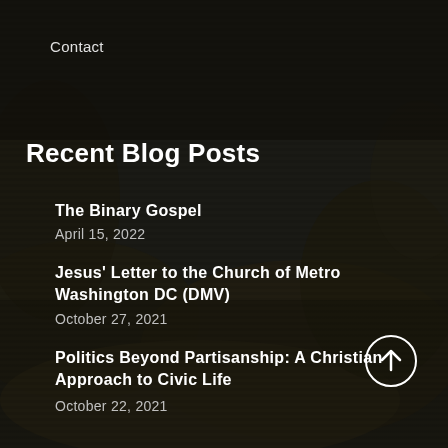Contact
Recent Blog Posts
The Binary Gospel
April 15, 2022
Jesus' Letter to the Church of Metro Washington DC (DMV)
October 27, 2021
Politics Beyond Partisanship: A Christian Approach to Civic Life
October 22, 2021